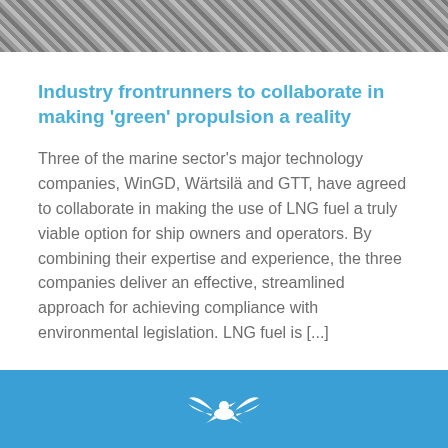[Figure (photo): Diagonal striped/textured image at top of page, appears to be a close-up of mechanical or industrial material]
Industry frontrunners to collaborate in making ‘green’ propulsion a reality
Three of the marine sector’s major technology companies, WinGD, Wärtsilä and GTT, have agreed to collaborate in making the use of LNG fuel a truly viable option for ship owners and operators. By combining their expertise and experience, the three companies deliver an effective, streamlined approach for achieving compliance with environmental legislation. LNG fuel is [...]
[Figure (logo): White logo/icon on blue background at bottom of page]